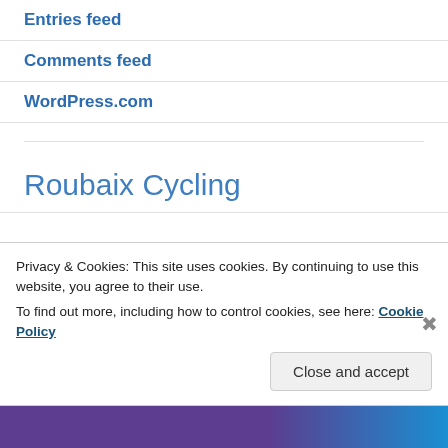Entries feed
Comments feed
WordPress.com
Roubaix Cycling
Privacy & Cookies: This site uses cookies. By continuing to use this website, you agree to their use.
To find out more, including how to control cookies, see here: Cookie Policy
Close and accept